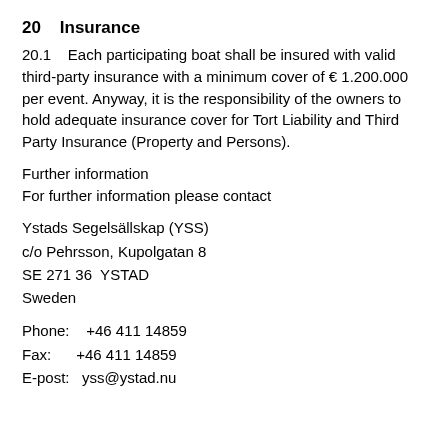20    Insurance
20.1    Each participating boat shall be insured with valid third-party insurance with a minimum cover of € 1.200.000 per event. Anyway, it is the responsibility of the owners to hold adequate insurance cover for Tort Liability and Third Party Insurance (Property and Persons).
Further information
For further information please contact
Ystads Segelsällskap (YSS)
c/o Pehrsson, Kupolgatan 8
SE 271 36  YSTAD
Sweden
Phone:    +46 411 14859
Fax:      +46 411 14859
E-post:   yss@ystad.nu